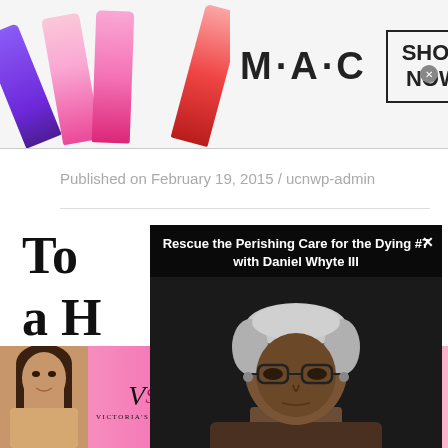[Figure (photo): MAC Cosmetics advertisement banner at top showing lipsticks in purple, pink, and red colors, MAC logo text, and a SHOP NOW button]
Published on February 19, 2015 / ucnwp-admin
To a H US
[Figure (screenshot): Video popup overlay showing 'Rescue the Perishing Care for the Dying #7 with Daniel Whyte III' with image of a man with grey hair and glasses]
[Figure (photo): Victoria's Secret advertisement banner at bottom showing a model, Victoria's Secret logo, SHOP THE COLLECTION text, and a SHOP NOW button]